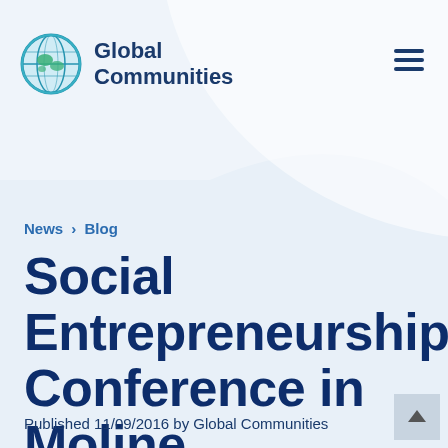[Figure (logo): Global Communities logo: circular globe icon with teal and green colors, next to bold dark blue text reading 'Global Communities']
News › Blog
Social Entrepreneurship Conference in Moline
Published 11/09/2016 by Global Communities